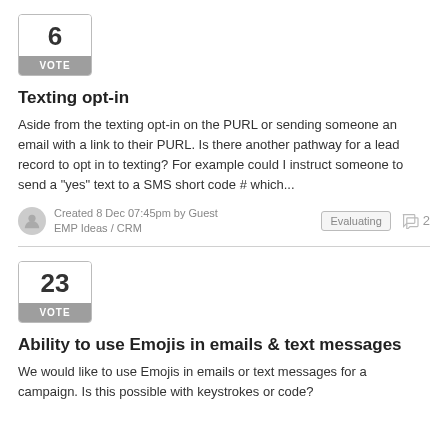[Figure (other): Vote box showing number 6 with VOTE label]
Texting opt-in
Aside from the texting opt-in on the PURL or sending someone an email with a link to their PURL. Is there another pathway for a lead record to opt in to texting? For example could I instruct someone to send a "yes" text to a SMS short code # which...
Created 8 Dec 07:45pm by Guest
EMP Ideas / CRM
Evaluating  2
[Figure (other): Vote box showing number 23 with VOTE label]
Ability to use Emojis in emails & text messages
We would like to use Emojis in emails or text messages for a campaign. Is this possible with keystrokes or code?